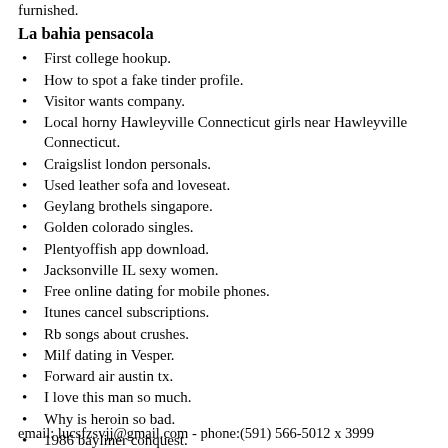furnished.
La bahia pensacola
First college hookup.
How to spot a fake tinder profile.
Visitor wants company.
Local horny Hawleyville Connecticut girls near Hawleyville Connecticut.
Craigslist london personals.
Used leather sofa and loveseat.
Geylang brothels singapore.
Golden colorado singles.
Plentyoffish app download.
Jacksonville IL sexy women.
Free online dating for mobile phones.
Itunes cancel subscriptions.
Rb songs about crushes.
Milf dating in Vesper.
Forward air austin tx.
I love this man so much.
Why is heroin so bad.
1986 bayliner conquest.
21st century dating uk.
email: lucsfzsvjj@gmail.com - phone:(591) 566-5012 x 3999